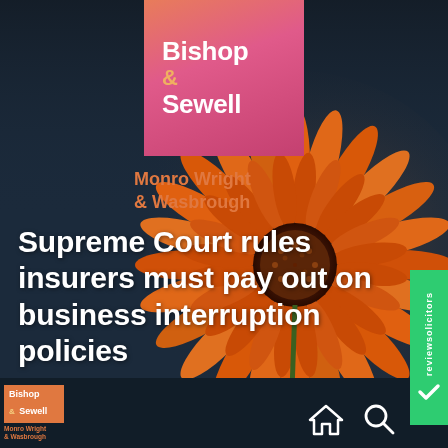[Figure (illustration): Dark navy background with large orange gerbera daisy flower on right side, with gradient orange-pink logo box at top center]
Bishop & Sewell
Monro Wright & Wasbrough
Supreme Court rules insurers must pay out on business interruption policies
[Figure (logo): reviewsolicitors green vertical badge with checkmark]
[Figure (logo): Small Bishop & Sewell / Monro Wright logo in bottom left corner]